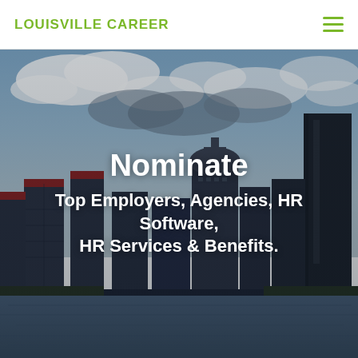LOUISVILLE CAREER
[Figure (photo): Louisville, Kentucky skyline viewed from across the Ohio River, with cloudy sky, city buildings including a domed gold-roof skyscraper and a tall dark tower, and waterfront in the foreground.]
Nominate
Top Employers, Agencies, HR Software, HR Services & Benefits.